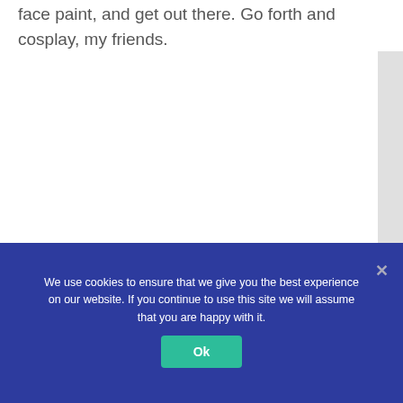face paint, and get out there. Go forth and cosplay, my friends.
We use cookies to ensure that we give you the best experience on our website. If you continue to use this site we will assume that you are happy with it.
Ok